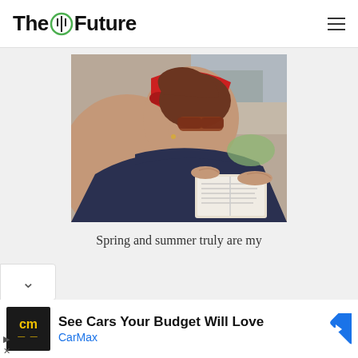The Future
[Figure (photo): Woman wearing a red paisley bandana headband and dark sunglasses, looking down and reading a book outdoors. She is wearing a dark blue strapless top. The background shows an outdoor sandy/paved area.]
Spring and summer truly are my
[Figure (infographic): Advertisement banner: CarMax logo (cm in yellow on black background), text 'See Cars Your Budget Will Love' with 'CarMax' in blue below, and a blue diamond-shaped arrow icon on the right.]